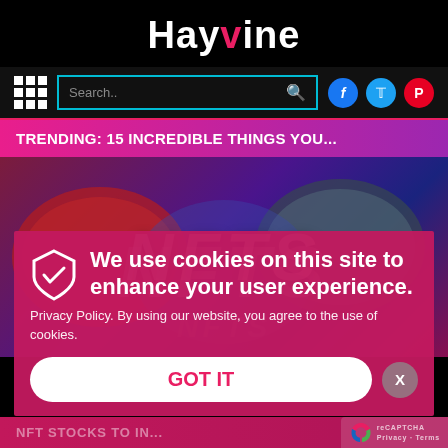Hayvine
[Figure (screenshot): Website screenshot of Hayvine showing navigation bar with grid menu, search box, Facebook, Twitter, Pinterest social icons]
TRENDING: 15 INCREDIBLE THINGS YOU...
[Figure (photo): Cryptocurrency coins with NFTs text overlay in blue and red tones]
We use cookies on this site to enhance your user experience.
Privacy Policy. By using our website, you agree to the use of cookies.
GOT IT
NFT STOCKS TO IN...